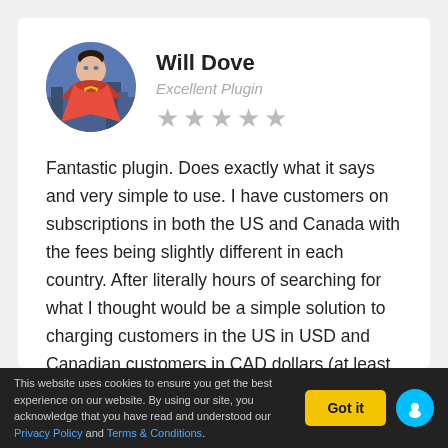Will Dove
Excellent Plugin
★★★★★ (5 stars, grey)
Fantastic plugin. Does exactly what it says and very simple to use. I have customers on subscriptions in both the US and Canada with the fees being slightly different in each country. After literally hours of searching for what I thought would be a simple solution to charging customers in the US in USD and Canadian customers in CAD dollars (at least on the front end) I finally
This website uses cookies to ensure you get the best experience on our website. By using our site, you acknowledge that you have read and understood our Privacy Policy and Terms & Conditions.